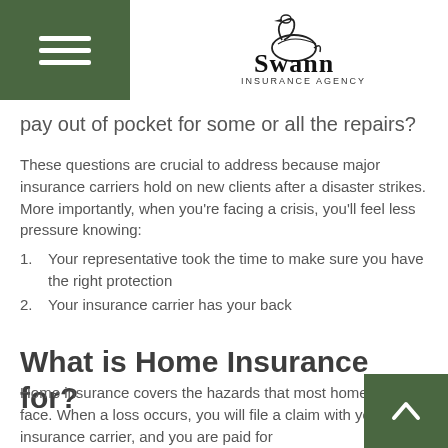Swann Insurance Agency
pay out of pocket for some or all the repairs?
These questions are crucial to address because major insurance carriers hold on new clients after a disaster strikes. More importantly, when you're facing a crisis, you'll feel less pressure knowing:
Your representative took the time to make sure you have the right protection
Your insurance carrier has your back
What is Home Insurance for?
Home insurance covers the hazards that most homeowners face. When a loss occurs, you will file a claim with your insurance carrier, and you are paid for